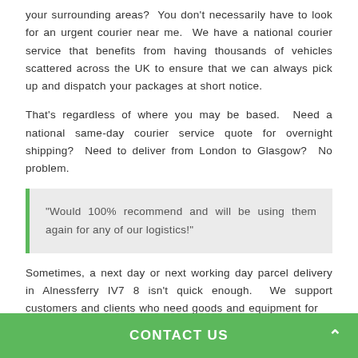your surrounding areas? You don't necessarily have to look for an urgent courier near me. We have a national courier service that benefits from having thousands of vehicles scattered across the UK to ensure that we can always pick up and dispatch your packages at short notice.
That's regardless of where you may be based. Need a national same-day courier service quote for overnight shipping? Need to deliver from London to Glasgow? No problem.
"Would 100% recommend and will be using them again for any of our logistics!"
Sometimes, a next day or next working day parcel delivery in Alnessferry IV7 8 isn't quick enough. We support customers and clients who need goods and equipment for
CONTACT US